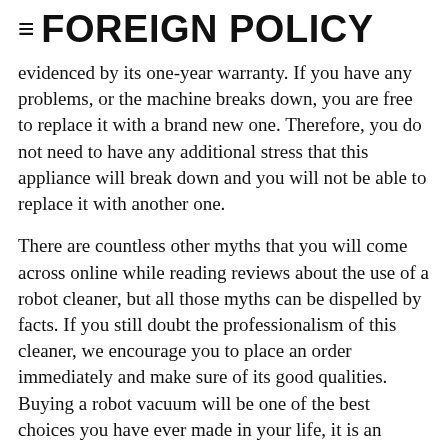= FOREIGN POLICY
evidenced by its one-year warranty. If you have any problems, or the machine breaks down, you are free to replace it with a brand new one. Therefore, you do not need to have any additional stress that this appliance will break down and you will not be able to replace it with another one.
There are countless other myths that you will come across online while reading reviews about the use of a robot cleaner, but all those myths can be dispelled by facts. If you still doubt the professionalism of this cleaner, we encourage you to place an order immediately and make sure of its good qualities. Buying a robot vacuum will be one of the best choices you have ever made in your life, it is an investment that is guaranteed to pay off.